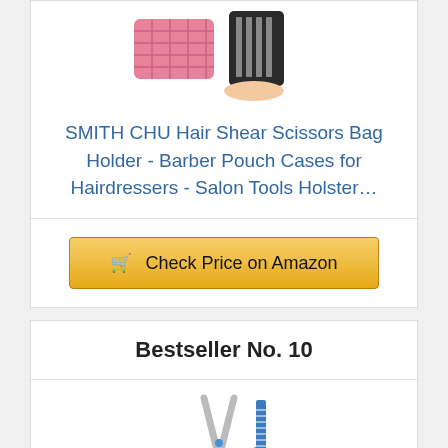[Figure (photo): Pink quilted bag and black scissors case held in hand]
SMITH CHU Hair Shear Scissors Bag Holder - Barber Pouch Cases for Hairdressers - Salon Tools Holster…
Check Price on Amazon
Bestseller No. 10
[Figure (photo): Silver hair cutting scissors with blue handles and a blue comb]